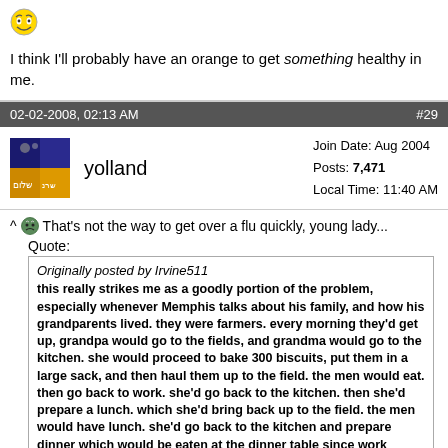[Figure (illustration): Laughing emoji / smiley face icon]
I think I'll probably have an orange to get something healthy in me.
02-02-2008, 02:13 AM   #29
[Figure (illustration): User avatar for yolland - colorful image with Hebrew text]
yolland   Join Date: Aug 2004  Posts: 7,471  Local Time: 11:40 AM
^ That's not the way to get over a flu quickly, young lady...
Quote:
Originally posted by Irvine511
this really strikes me as a goodly portion of the problem, especially whenever Memphis talks about his family, and how his grandparents lived. they were farmers. every morning they'd get up, grandpa would go to the fields, and grandma would go to the kitchen. she would proceed to bake 300 biscuits, put them in a large sack, and then haul them up to the field. the men would eat. then go back to work. she'd go back to the kitchen. then she'd prepare a lunch. which she'd bring back up to the field. the men would have lunch. she'd go back to the kitchen and prepare dinner which would be eaten at the dinner table since work stopped when it got dark out. dinner would be fried